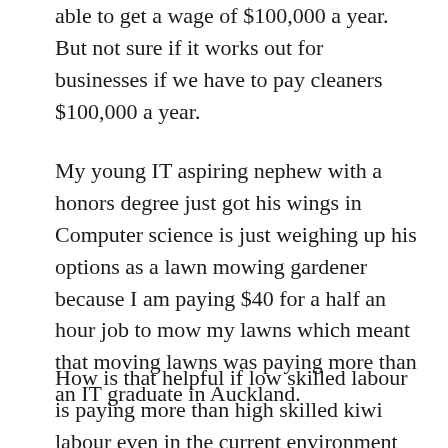able to get a wage of $100,000 a year. But not sure if it works out for businesses if we have to pay cleaners $100,000 a year.
My young IT aspiring nephew with a honors degree just got his wings in Computer science is just weighing up his options as a lawn mowing gardener because I am paying $40 for a half an hour job to mow my lawns which meant that moving lawns was paying more than an IT graduate in Auckland.
How is that helpful if low skilled labour is paying more than high skilled kiwi labour even in the current environment where the